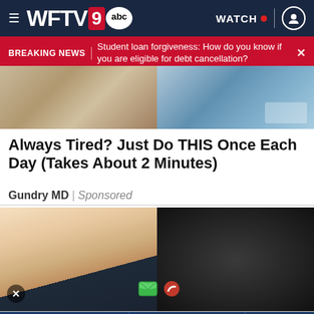WFTV 9 abc | WATCH
BREAKING NEWS | Student loan forgiveness: How do you know if you are eligible for debt cancellation?
[Figure (photo): Partial image showing a person in business attire on the left and a blue textured surface on the right]
Always Tired? Just Do THIS Once Each Day (Takes About 2 Minutes)
Gundry MD | Sponsored
[Figure (photo): Close-up of a finger pressing on a smartphone screen with green message and red phone icons visible, against a dark textured background]
[Figure (other): Advertisement banner for Hugh Cotton Insurance: Do you have the coverage you need this Hurricane Season? Good People, Great Coverage serving Central Florida for over 70 years. Get StormPeace and have peace of mind. Learn More.]